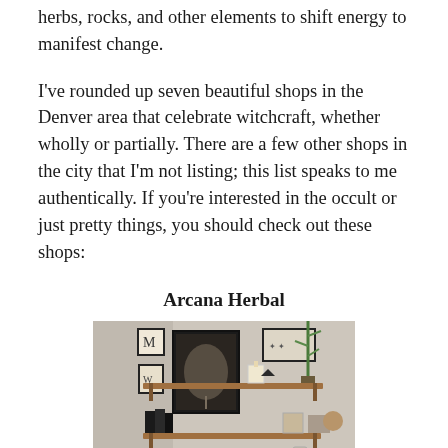herbs, rocks, and other elements to shift energy to manifest change.
I've rounded up seven beautiful shops in the Denver area that celebrate witchcraft, whether wholly or partially. There are a few other shops in the city that I'm not listing; this list speaks to me authentically. If you're interested in the occult or just pretty things, you should check out these shops:
Arcana Herbal
[Figure (photo): Interior photo of Arcana Herbal shop showing wall-mounted wooden shelves with framed botanical artwork, small potted plants including bamboo, and various shop items displayed on shelves.]